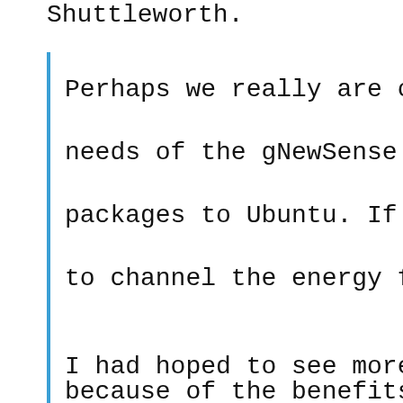Shuttleworth.
Perhaps we really are on the wro needs of the gNewSense folks is packages to Ubuntu. If that is t to channel the energy from Gobun I had hoped to see more participa because of the benefits of keepin releases, security updates etc). a platform like this is willing maintenance in return for a plat